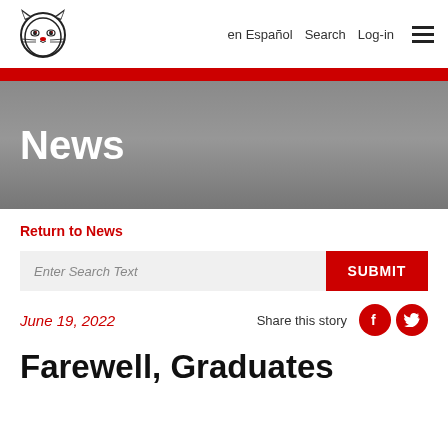en Español  Search  Log-in
News
Return to News
Enter Search Text  SUBMIT
June 19, 2022  Share this story
Farewell, Graduates